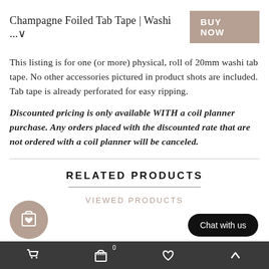Champagne Foiled Tab Tape | Washi ... ∨
This listing is for one (or more) physical, roll of 20mm washi tab tape. No other accessories pictured in product shots are included. Tab tape is already perforated for easy ripping.
Discounted pricing is only available WITH a coil planner purchase. Any orders placed with the discounted rate that are not ordered with a coil planner will be canceled.
RELATED PRODUCTS
VIEWED PRODUCTS
Cart | Bag | Wishlist | Top